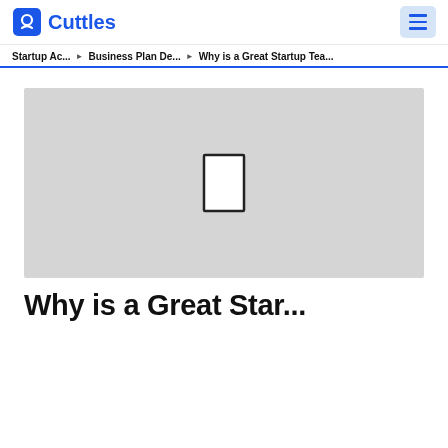Cuttles — navigation header with logo and hamburger menu
Startup Ac... > Business Plan De... > Why is a Great Startup Tea...
[Figure (photo): Gray placeholder image with a small centered rectangle outline, representing a hero image that has not loaded.]
Why is a Great Star...